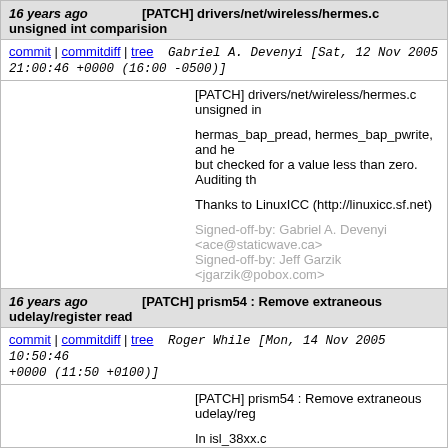16 years ago   [PATCH] drivers/net/wireless/hermes.c unsigned int comparision
commit | commitdiff | tree   Gabriel A. Devenyi [Sat, 12 Nov 2005 21:00:46 +0000 (16:00 -0500)]
[PATCH] drivers/net/wireless/hermes.c unsigned in

hermas_bap_pread, hermes_bap_pwrite, and he but checked for a value less than zero. Auditing th

Thanks to LinuxICC (http://linuxicc.sf.net)

Signed-off-by: Gabriel A. Devenyi <ace@staticwave.ca>
Signed-off-by: Jeff Garzik <jgarzik@pobox.com>
16 years ago   [PATCH] prism54 : Remove extraneous udelay/register read
commit | commitdiff | tree   Roger While [Mon, 14 Nov 2005 10:50:46 +0000 (11:50 +0100)]
[PATCH] prism54 : Remove extraneous udelay/reg

In isl_38xx.c
In routine isl38xx_trigger-device

Move unnecessary udelay/register read.
This is a clean version, already cleaned...